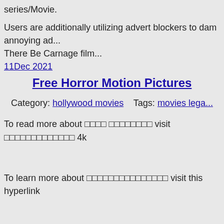series/Movie.
Users are additionally utilizing advert blockers to dam annoying ad... There Be Carnage film...
11Dec 2021
Free Horror Motion Pictures
Category: hollywood movies    Tags: movies lega...
To read more about □□□□ □□□□□□□□ visit □□□□□□□□□□□□□ 4k
To learn more about □□□□□□□□□□□□□□□ visit this hyperlink
For some motion pictures and TV shows, they have greater than 2+... you find one link damaged then you'll find a way to proceed watchi... can watch movie trailer additionally right here and know basic info... forged, IMDB ranking, user rankings and small information about m... movie website to observe movies and TV reveals without downloa... FreeFlix,...